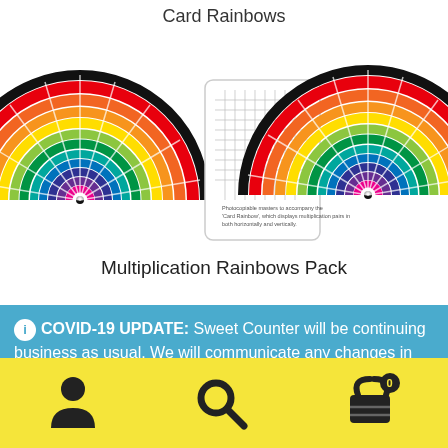[Figure (photo): Product image showing Multiplication Rainbows Pack — rainbow-shaped cards with colorful arcs and a white booklet with multiplication table grids]
Multiplication Rainbows Pack
COVID-19 UPDATE: Sweet Counter will be continuing business as usual. We will communicate any changes in our operational network with you if/when necessary. Thank you for your patience during this time.
Dismiss
[Figure (infographic): Yellow bottom navigation bar with person/account icon, search magnifying glass icon, and shopping basket icon with badge showing 0]